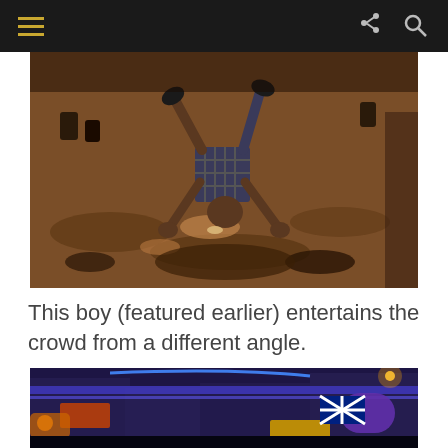[Navigation bar with hamburger menu, share and search icons]
[Figure (photo): A boy doing a handstand or breakdance move on a wet street at night, photographed from behind at a low angle. The ground is muddy/sandy with puddles reflecting light.]
This boy (featured earlier) entertains the crowd from a different angle.
[Figure (photo): A busy nighttime street scene with neon lights, blue and purple lighting, storefronts and signs illuminated.]